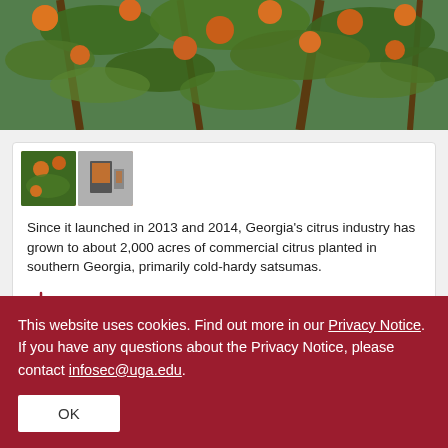[Figure (photo): A citrus tree with oranges/satsumas hanging from branches with green leaves, viewed from below against a blue sky.]
[Figure (photo): Two small thumbnail images: one showing citrus fruit on a tree, another showing a display sign near citrus trees.]
Since it launched in 2013 and 2014, Georgia’s citrus industry has grown to about 2,000 acres of commercial citrus planted in southern Georgia, primarily cold-hardy satsumas.
Download Image
This website uses cookies. Find out more in our Privacy Notice. If you have any questions about the Privacy Notice, please contact infosec@uga.edu.
OK